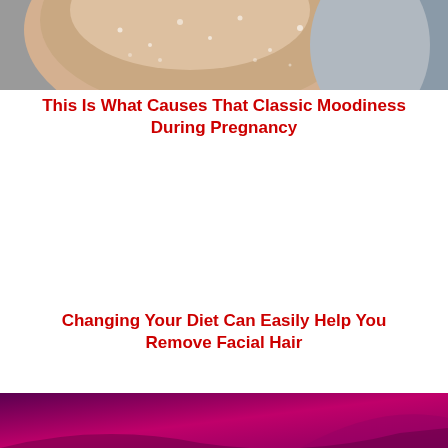[Figure (photo): Close-up photo of a pregnant belly or skin with water droplets, warm tones against gray background]
This Is What Causes That Classic Moodiness During Pregnancy
Changing Your Diet Can Easily Help You Remove Facial Hair
[Figure (photo): Partial bottom image with dark purple/magenta gradient background, appears to be bottom of another article card]